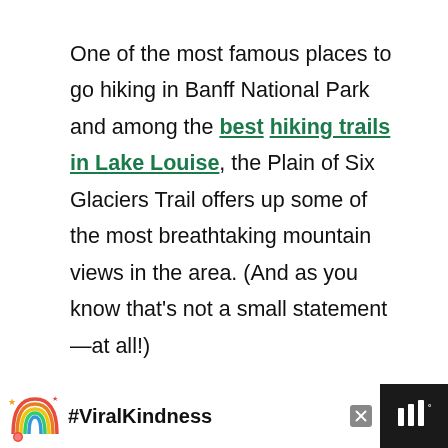One of the most famous places to go hiking in Banff National Park and among the best hiking trails in Lake Louise, the Plain of Six Glaciers Trail offers up some of the most breathtaking mountain views in the area. (And as you know that's not a small statement—at all!)
[Figure (photo): Mountain valley landscape with pine trees and cloudy sky, appears to be in Banff area]
[Figure (screenshot): What's Next overlay showing thumbnail of lake with text: The 17 BEST Oahu Hikes:...]
[Figure (infographic): Advertisement bar with dark background showing rainbow illustration and #ViralKindness hashtag in white text]